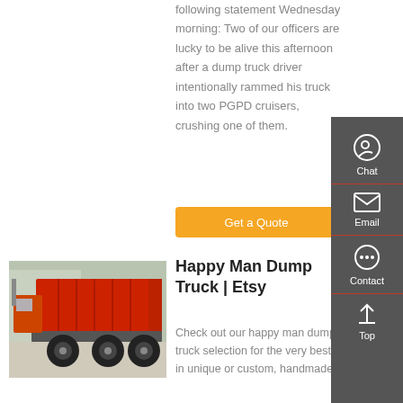following statement Wednesday morning: Two of our officers are lucky to be alive this afternoon after a dump truck driver intentionally rammed his truck into two PGPD cruisers, crushing one of them.
Get a Quote
[Figure (photo): Red dump truck parked in a yard, viewed from the rear-left angle]
Happy Man Dump Truck | Etsy
Check out our happy man dump truck selection for the very best in unique or custom, handmade